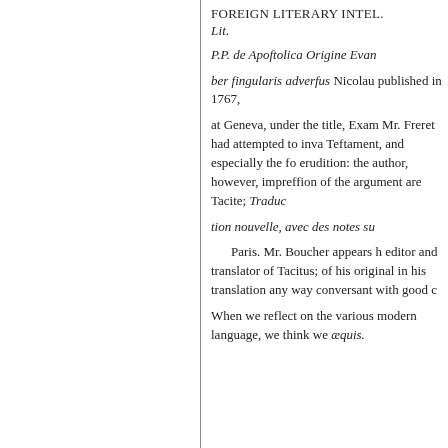FOREIGN LITERARY INTEL. Lit.
P.P. de Apoftolica Origine Evan
ber fingularis adverfus Nicolau published in 1767,
at Geneva, under the title, Exam Mr. Freret had attempted to inva Teftament, and especially the fo erudition: the author, however, impreffion of the argument are Tacite; Traduc
tion nouvelle, avec des notes su
Paris. Mr. Boucher appears h editor and translator of Tacitus; of his original in his translation any way conversant with good c
When we reflect on the various modern language, we think we æquis.